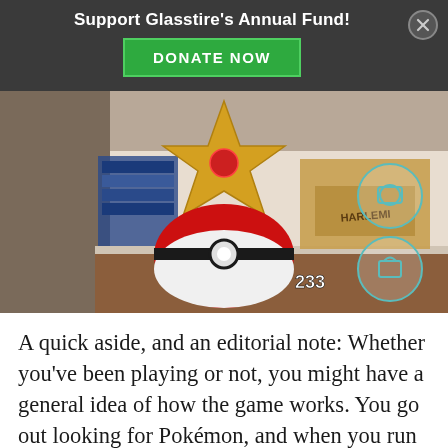Support Glasstire's Annual Fund!
[Figure (screenshot): Pokemon GO augmented reality screenshot showing a Staryu Pokemon and a Pokeball over a real-world desk scene with books and drawers. UI elements include camera and bag icons, and a Pokeball count of 233.]
A quick aside, and an editorial note: Whether you've been playing or not, you might have a general idea of how the game works. You go out looking for Pokémon, and when you run